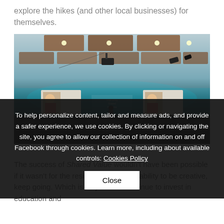explore the hikes (and other local businesses) for themselves.
[Figure (photo): Conference hall photo showing a speaker on stage with two projection screens displaying a portrait, audience silhouetted in foreground, teal stage lighting, wooden ceiling panels visible above.]
To help personalize content, tailor and measure ads, and provide a safer experience, we use cookies. By clicking or navigating the site, you agree to allow our collection of information on and off Facebook through cookies. Learn more, including about available controls: Cookies Policy
Close
The success of Shared Value wouldn't have been possible if it wasn't for the resilience and adaptability to be creative, keep going. Which is why we will continue to invest in education and